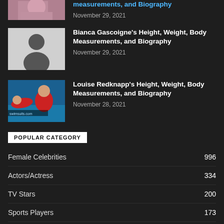[Figure (photo): Partial view of top article thumbnail - woman in pink top]
measurements, and Biography
November 29, 2021
[Figure (photo): Placeholder avatar silhouette on grey background]
Bianca Gascoigne's Height, Weight, Body Measurements, and Biography
November 29, 2021
[Figure (photo): Louise Redknapp photo - woman in red top near pool]
Louise Redknapp's Height, Weight, Body Measurements, and Biography
November 28, 2021
POPULAR CATEGORY
Female Celebrities 996
Actors/Actress 334
TV Stars 200
Sports Players 173